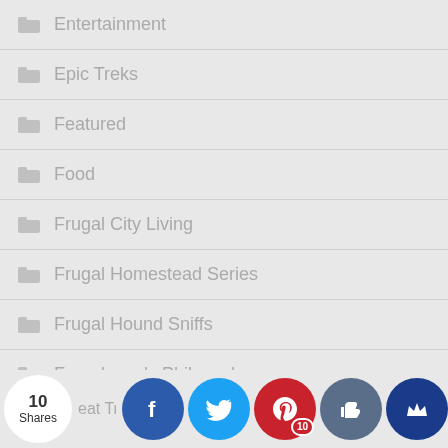Entertainment
Epic Treks
Featured
Food
Frugal City Living
Frugal Homestead Series
Frugal Hound Sniffs
Frugalwoods Philosophy
Frugalwoods Reviews